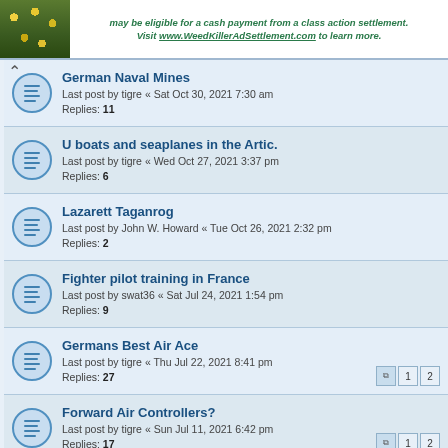[Figure (screenshot): Advertisement banner with green plant image and text about WeedKillerAdSettlement.com class action settlement]
German Naval Mines
Last post by tigre « Sat Oct 30, 2021 7:30 am
Replies: 11
U boats and seaplanes in the Artic.
Last post by tigre « Wed Oct 27, 2021 3:37 pm
Replies: 6
Lazarett Taganrog
Last post by John W. Howard « Tue Oct 26, 2021 2:32 pm
Replies: 2
Fighter pilot training in France
Last post by swat36 « Sat Jul 24, 2021 1:54 pm
Replies: 9
Germans Best Air Ace
Last post by tigre « Thu Jul 22, 2021 8:41 pm
Replies: 27
Forward Air Controllers?
Last post by tigre « Sun Jul 11, 2021 6:42 pm
Replies: 17
Disposition of Captured German Medical Personel
Last post by raisarthak657 « Sat Jun 05, 2021 6:15 am
Replies: 1
Subhas Chandra Bose member of Waffen-ss?
Last post by raisarthak657 « Tue Jun 01, 2021 8:00 am
Replies: 1